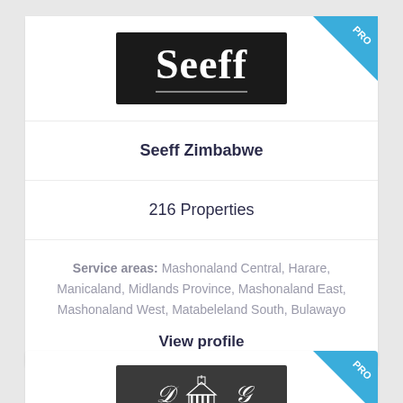[Figure (logo): Seeff real estate logo — white serif text 'Seeff' on black background with underline]
Seeff Zimbabwe
216 Properties
Service areas: Mashonaland Central, Harare, Manicaland, Midlands Province, Mashonaland East, Mashonaland West, Matabeleland South, Bulawayo
View profile
[Figure (logo): DLG real estate logo — white ornate crest on dark grey background, partial view]